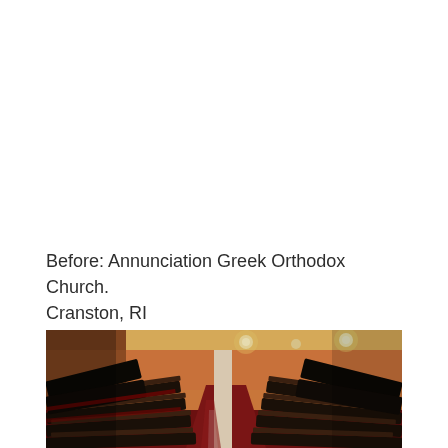Before: Annunciation Greek Orthodox Church. Cranston, RI
[Figure (photo): Interior photo of Annunciation Greek Orthodox Church in Cranston, RI showing rows of dark wooden pews arranged in a curved layout, with red carpet between the rows, warm orange walls, and circular light fixtures visible in the background.]